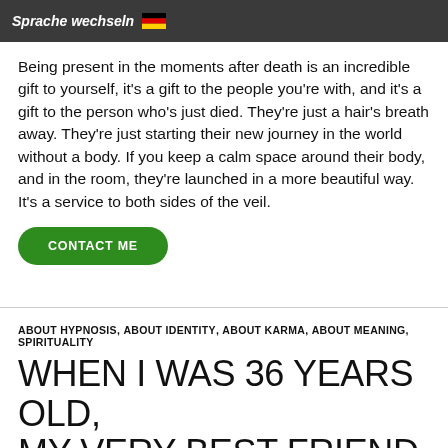Sprache wechseln 🇩🇪
Being present in the moments after death is an incredible gift to yourself, it's a gift to the people you're with, and it's a gift to the person who's just died. They're just a hair's breath away. They're just starting their new journey in the world without a body. If you keep a calm space around their body, and in the room, they're launched in a more beautiful way. It's a service to both sides of the veil.
CONTACT ME
ABOUT HYPNOSIS, ABOUT IDENTITY, ABOUT KARMA, ABOUT MEANING, SPIRITUALITY
WHEN I WAS 36 YEARS OLD, MY VERY BEST FRIEND